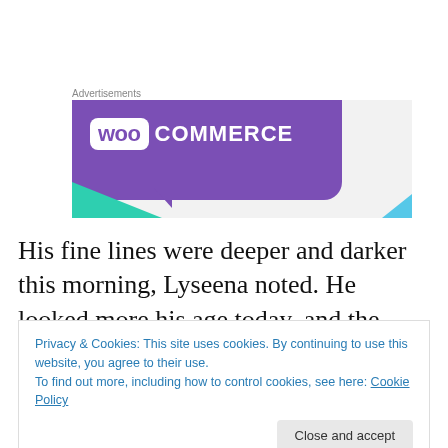Advertisements
[Figure (illustration): WooCommerce advertisement banner with purple background, white WooCommerce logo text, teal triangle in bottom left, and light blue triangle in bottom right corner on grey background.]
His fine lines were deeper and darker this morning, Lyseena noted. He looked more his age today, and the
Privacy & Cookies: This site uses cookies. By continuing to use this website, you agree to their use.
To find out more, including how to control cookies, see here: Cookie Policy
Close and accept
by the arm before she she could pass into the pit on her